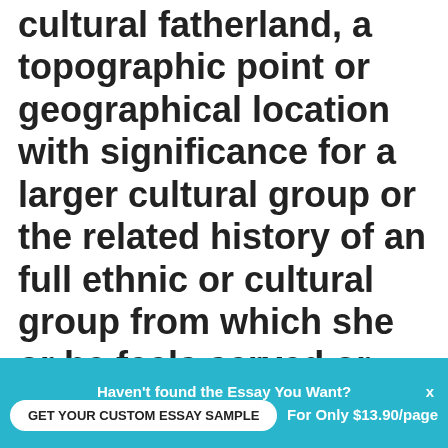cultural fatherland, a topographic point or geographical location with significance for a larger cultural group or the related history of an full ethnic or cultural group from which she or he feels served or exiled, whether voluntarily or involuntarily.
Chase and Shaw ( 1989:2 ) explain that:
Nostalgia involved a particular
Haven't found the Essay You Want?
GET YOUR CUSTOM ESSAY SAMPLE
For Only $13.90/page